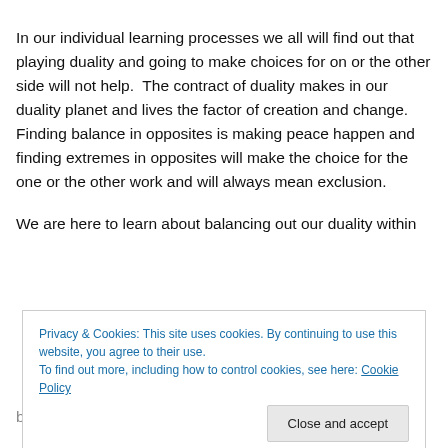In our individual learning processes we all will find out that playing duality and going to make choices for on or the other side will not help.  The contract of duality makes in our duality planet and lives the factor of creation and change. Finding balance in opposites is making peace happen and finding extremes in opposites will make the choice for the one or the other work and will always mean exclusion.
We are here to learn about balancing out our duality within
Privacy & Cookies: This site uses cookies. By continuing to use this website, you agree to their use.
To find out more, including how to control cookies, see here: Cookie Policy
balance in duality as the way in their hearts, lives and the